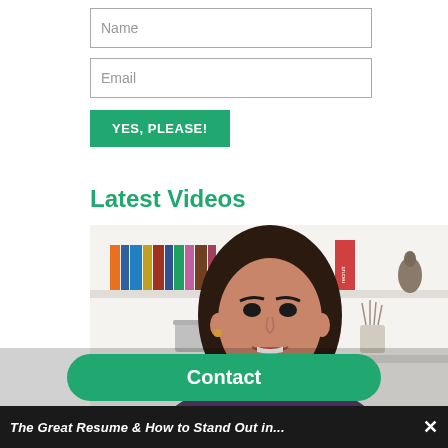Name
Email
YES, PLEASE!
Latest Videos
[Figure (photo): A woman with dark hair speaking in front of a white bookshelf filled with books and decorative items including a diffuser and small sculpture]
Contact
The Great Resume & How to Stand Out in...